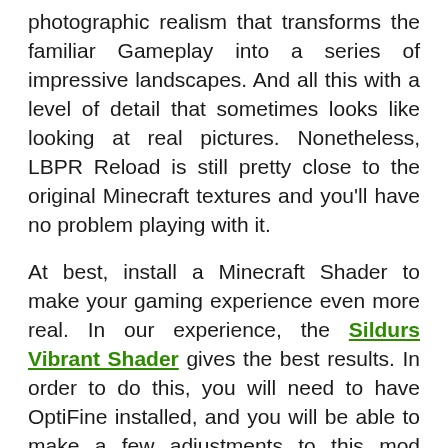photographic realism that transforms the familiar Gameplay into a series of impressive landscapes. And all this with a level of detail that sometimes looks like looking at real pictures. Nonetheless, LBPR Reload is still pretty close to the original Minecraft textures and you'll have no problem playing with it.
At best, install a Minecraft Shader to make your gaming experience even more real. In our experience, the Sildurs Vibrant Shader gives the best results. In order to do this, you will need to have OptiFine installed, and you will be able to make a few adjustments to this mod directly. This may be necessary as LB Photo Realism Reload contains many 3D models, animations and random textures